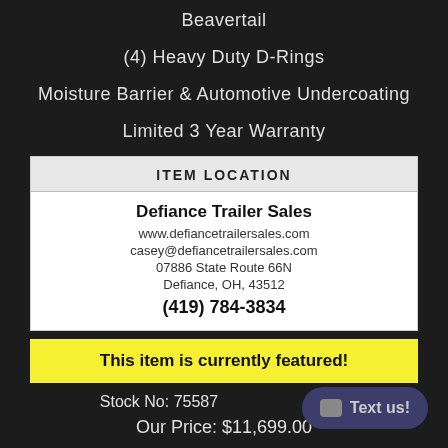Beavertail
(4) Heavy Duty D-Rings
Moisture Barrier & Automotive Undercoating
Limited 3 Year Warranty
ITEM LOCATION
Defiance Trailer Sales
www.defiancetrailersales.com
casey@defiancetrailersales.com
07886 State Route 66N
Defiance, OH, 43512
(419) 784-3834
This item is currently featured!
Stock No: 75587
Our Price: $11,699.00